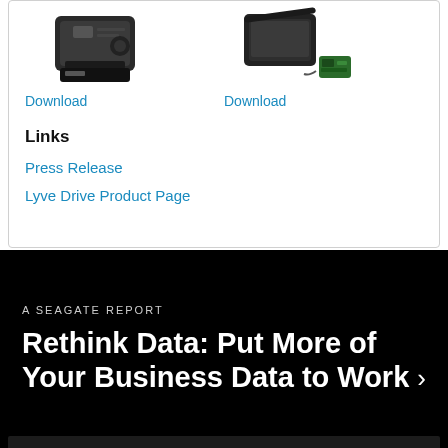[Figure (photo): Product photo of a portable hard drive device (left column)]
Download
[Figure (photo): Product photo of a portable hard drive device with accessories (right column)]
Download
Links
Press Release
Lyve Drive Product Page
A SEAGATE REPORT
Rethink Data: Put More of Your Business Data to Work >